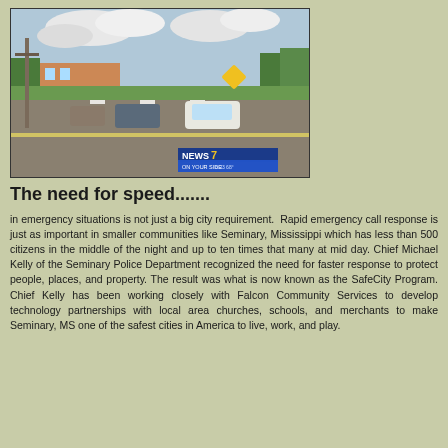[Figure (photo): Street scene with cars driving on a road, buildings and trees visible in background, green grass median in foreground, NEWS 7 ON YOUR SIDE logo overlay in bottom right corner]
The need for speed.......
in emergency situations is not just a big city requirement. Rapid emergency call response is just as important in smaller communities like Seminary, Mississippi which has less than 500 citizens in the middle of the night and up to ten times that many at mid day. Chief Michael Kelly of the Seminary Police Department recognized the need for faster response to protect people, places, and property. The result was what is now known as the SafeCity Program. Chief Kelly has been working closely with Falcon Community Services to develop technology partnerships with local area churches, schools, and merchants to make Seminary, MS one of the safest cities in America to live, work, and play.